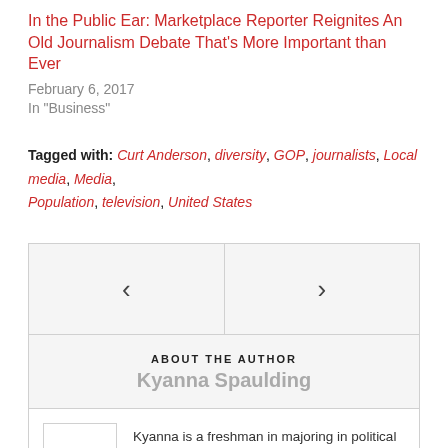In the Public Ear: Marketplace Reporter Reignites An Old Journalism Debate That's More Important than Ever
February 6, 2017
In "Business"
Tagged with: Curt Anderson, diversity, GOP, journalists, Local media, Media, Population, television, United States
[Figure (other): Navigation arrows box with left and right chevrons for previous/next post navigation]
ABOUT THE AUTHOR
Kyanna Spaulding
Kyanna is a freshman in majoring in political